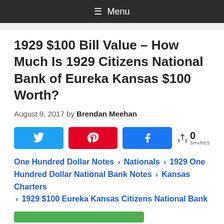≡ Menu
1929 $100 Bill Value – How Much Is 1929 Citizens National Bank of Eureka Kansas $100 Worth?
August 9, 2017 by Brendan Meehan
[Figure (other): Social share buttons: Twitter, Pinterest, Facebook, with 0 SHARES count]
One Hundred Dollar Notes › Nationals › 1929 One Hundred Dollar National Bank Notes › Kansas Charters › 1929 $100 Eureka Kansas Citizens National Bank
[Figure (other): Green progress/loading bar element]
[Figure (other): Social share buttons: Twitter, Pinterest, Facebook, with 0 SHARES count (bottom)]